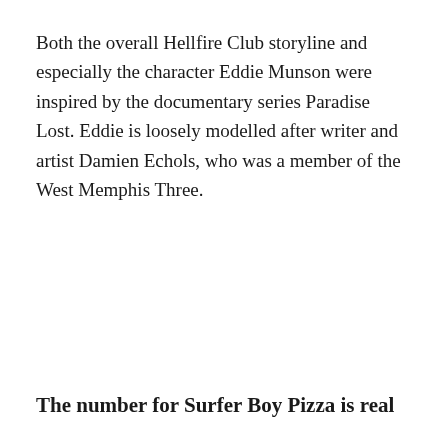Both the overall Hellfire Club storyline and especially the character Eddie Munson were inspired by the documentary series Paradise Lost. Eddie is loosely modelled after writer and artist Damien Echols, who was a member of the West Memphis Three.
The number for Surfer Boy Pizza is real